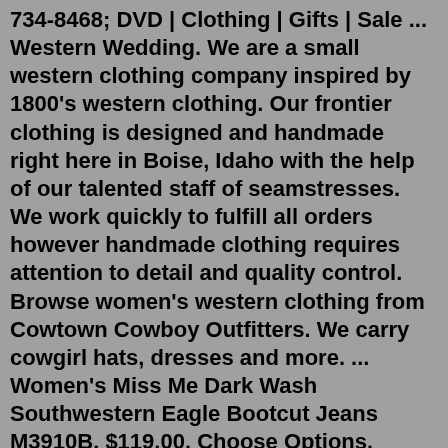734-8468; DVD | Clothing | Gifts | Sale ... Western Wedding. We are a small western clothing company inspired by 1800's western clothing. Our frontier clothing is designed and handmade right here in Boise, Idaho with the help of our talented staff of seamstresses. We work quickly to fulfill all orders however handmade clothing requires attention to detail and quality control. Browse women's western clothing from Cowtown Cowboy Outfitters. We carry cowgirl hats, dresses and more. ... Women's Miss Me Dark Wash Southwestern Eagle Bootcut Jeans M3910B. $119.00. Choose Options. Choose Options. Ariat. Women's Real Dakota Snap Shirt Navy Multi Print 10041677. $59.95. Choose Options.No problem our customer service staff is ready to help. Phone: 480-218-1181 or Toll Free (US Only) 800-596-0444. Order Desk: Monday - Friday: 9:00 am to 5:00 pm Arizona Time. Saturday: 10:00 am to 5:00 pm Arizona Time. Sunday: Closed. Clothing Catalogs, Womens Clothing Catalogs| Soft Surroundings. Come